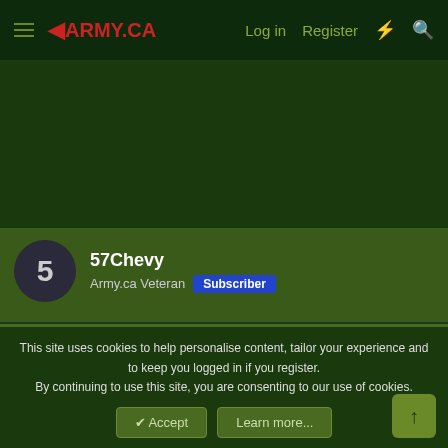◄ARMY.CA — Log in | Register
[Figure (other): Advertisement banner area — dark green background]
57Chevy — Army.ca Veteran — Subscriber
26 Jun 2010   #4
Just heard it on the news.
Sincere condoleances. 🤧 🤧
This site uses cookies to help personalise content, tailor your experience and to keep you logged in if you register.
By continuing to use this site, you are consenting to our use of cookies.
✔ Accept   Learn more...